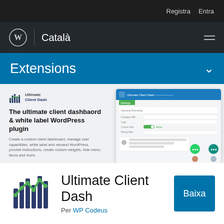Registra   Entra
Català
Extensions
[Figure (screenshot): Ultimate Client Dash plugin screenshot showing a WordPress admin dashboard interface with settings panels and a chat bubble overlay]
The ultimate client dashbaord & white label WordPress plugin
Create a custom client dashboard, manage user capabilities, white label and rebrand WordPress, provide instructions, create custom widgets, hide menu items and more.
[Figure (logo): Ultimate Client Dash logo icon with dark bar chart and green line chart overlay]
Ultimate Client Dash
Per WP Codeus
Baixa